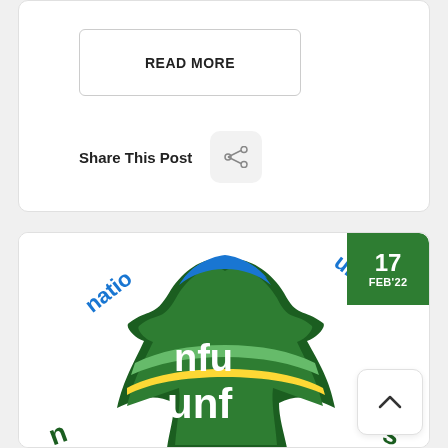READ MORE
Share This Post
[Figure (logo): NFU (National Farmers Union) logo with blue, green and yellow maple-leaf style design, text 'nfu unf', with curved text 'national' and 'union' on sides. Date badge shows 17 FEB'22 in green. Scroll-up button visible bottom right.]